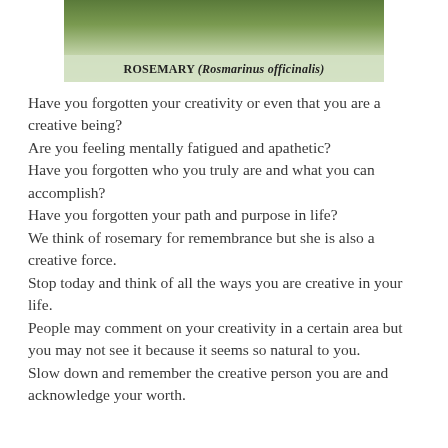[Figure (photo): Photo of rosemary plant (green foliage) with a label bar reading ROSEMARY (Rosmarinus officinalis)]
Have you forgotten your creativity or even that you are a creative being?
Are you feeling mentally fatigued and apathetic?
Have you forgotten who you truly are and what you can accomplish?
Have you forgotten your path and purpose in life?
We think of rosemary for remembrance but she is also a creative force.
Stop today and think of all the ways you are creative in your life.
People may comment on your creativity in a certain area but you may not see it because it seems so natural to you.
Slow down and remember the creative person you are and acknowledge your worth.